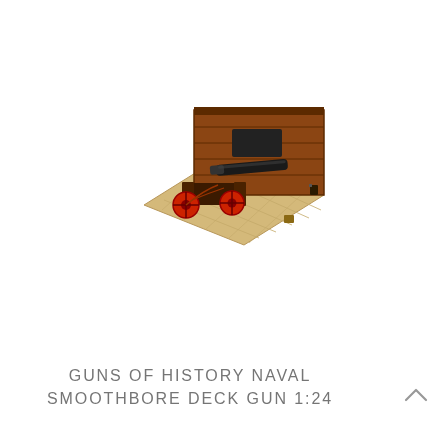[Figure (photo): A 1:24 scale model of a historical naval smoothbore deck gun mounted on a wooden deck section with a ship's side wall with gunport, featuring red-wheeled carriage and black cannon barrel]
GUNS OF HISTORY NAVAL SMOOTHBORE DECK GUN 1:24